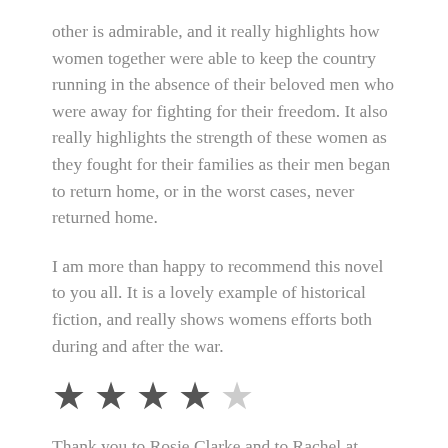other is admirable, and it really highlights how women together were able to keep the country running in the absence of their beloved men who were away for fighting for their freedom. It also really highlights the strength of these women as they fought for their families as their men began to return home, or in the worst cases, never returned home.
I am more than happy to recommend this novel to you all. It is a lovely example of historical fiction, and really shows womens efforts both during and after the war.
[Figure (other): 4 out of 5 stars rating: four filled dark stars and one empty/light star]
Thank you to Rosie Clarke and to Rachel at Rachel's Random Resources for inviting me to be a part of this